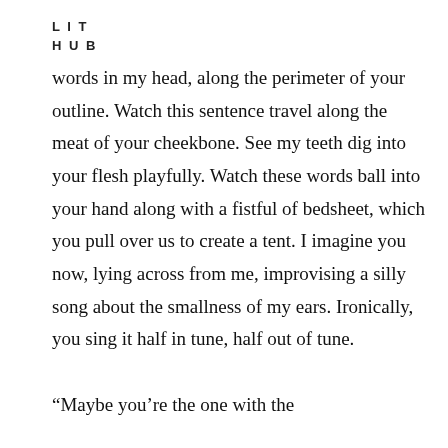LIT
HUB
words in my head, along the perimeter of your outline. Watch this sentence travel along the meat of your cheekbone. See my teeth dig into your flesh playfully. Watch these words ball into your hand along with a fistful of bedsheet, which you pull over us to create a tent. I imagine you now, lying across from me, improvising a silly song about the smallness of my ears. Ironically, you sing it half in tune, half out of tune.

“Maybe you’re the one with the